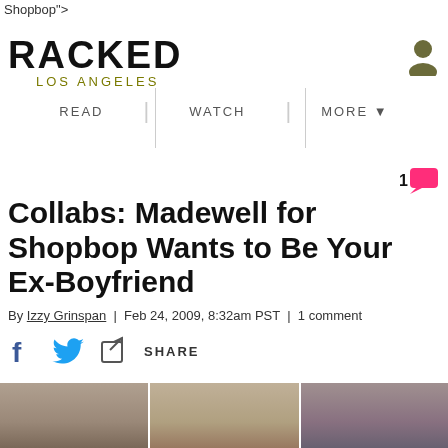Shopbop">
[Figure (logo): Racked Los Angeles logo - bold blocky black text RACKED with LOS ANGELES below in olive/dark yellow]
[Figure (other): User/person icon in olive/dark color, top right corner]
READ   |   WATCH   |   MORE ▼
[Figure (other): Pink/hot pink speech bubble comment icon with number 1]
Collabs: Madewell for Shopbop Wants to Be Your Ex-Boyfriend
By Izzy Grinspan  |  Feb 24, 2009, 8:32am PST  |  1 comment
f  [twitter bird]  [share icon]  SHARE
[Figure (photo): Three fashion model photos shown at bottom of page, showing women with long blonde hair in clothing]